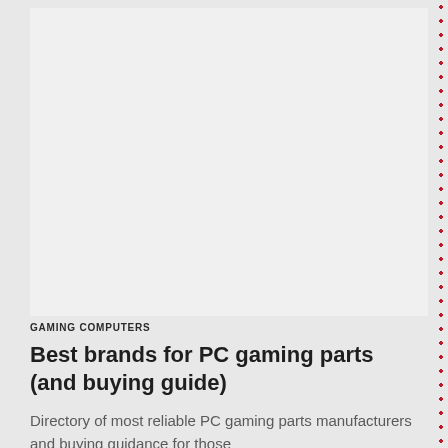[Figure (photo): Large image placeholder area (white/light gray box representing an image of PC gaming parts)]
GAMING COMPUTERS
Best brands for PC gaming parts (and buying guide)
Directory of most reliable PC gaming parts manufacturers and buying guidance for those